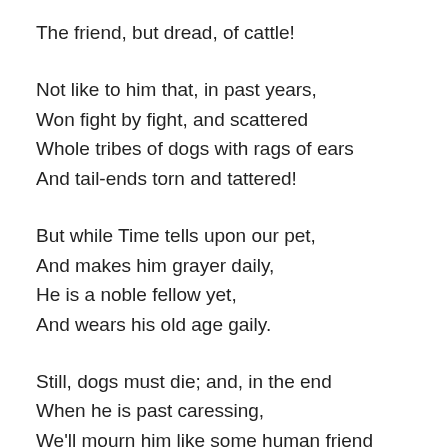The friend, but dread, of cattle!
Not like to him that, in past years,
Won fight by fight, and scattered
Whole tribes of dogs with rags of ears
And tail-ends torn and tattered!
But while Time tells upon our pet,
And makes him grayer daily,
He is a noble fellow yet,
And wears his old age gaily.
Still, dogs must die; and, in the end
When he is past caressing,
We'll mourn him like some human friend
Whose presence was a blessing.